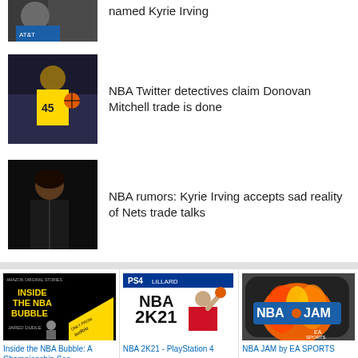[Figure (photo): Partial photo of basketball player at top, cropped]
named Kyrie Irving
[Figure (photo): Photo of Donovan Mitchell #45 in Utah Jazz uniform holding basketball]
NBA Twitter detectives claim Donovan Mitchell trade is done
[Figure (photo): Photo of Kyrie Irving in Brooklyn Nets uniform, profile view]
NBA rumors: Kyrie Irving accepts sad reality of Nets trade talks
[Figure (photo): Inside the NBA Bubble book cover - Amazon Audible]
Inside the NBA Bubble: A Championship Sea
[Figure (photo): NBA 2K21 PlayStation 4 game cover featuring Lillard]
NBA 2K21 - PlayStation 4
[Figure (photo): NBA JAM by EA Sports app icon with flaming basketball]
NBA JAM by EA SPORTS